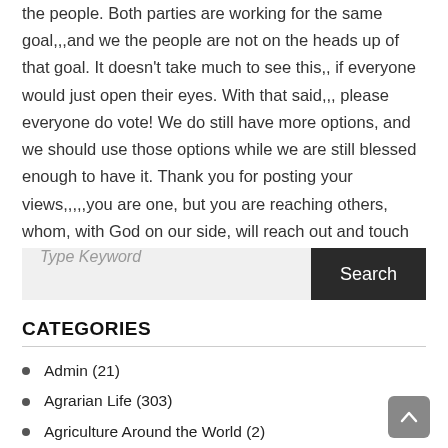the people. Both parties are working for the same goal,,,and we the people are not on the heads up of that goal. It doesn't take much to see this,, if everyone would just open their eyes. With that said,,, please everyone do vote! We do still have more options, and we should use those options while we are still blessed enough to have it. Thank you for posting your views,,,,,you are one, but you are reaching others, whom, with God on our side, will reach out and touch others, on and on. God will remember His soldiers. Blessings to you and your fam. xo SR
CATEGORIES
Admin (21)
Agrarian Life (303)
Agriculture Around the World (2)
America's Godly Heritage (33)